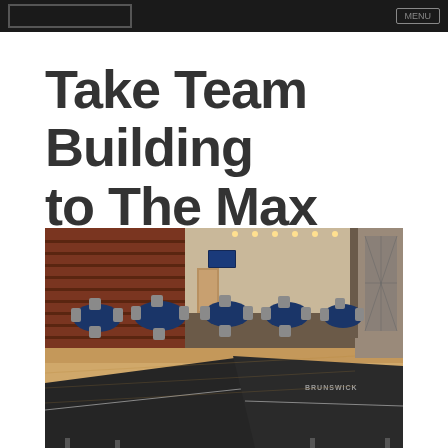Take Team Building to The Max
[Figure (photo): Indoor event venue with multiple round tables covered in blue tablecloths and gray banquet chairs arranged in a large open room with brick walls, wood floors, a mounted TV screen, ping pong tables in the foreground, and a metal art piece on the right wall. Brunswick brand ping pong tables are visible in the foreground.]